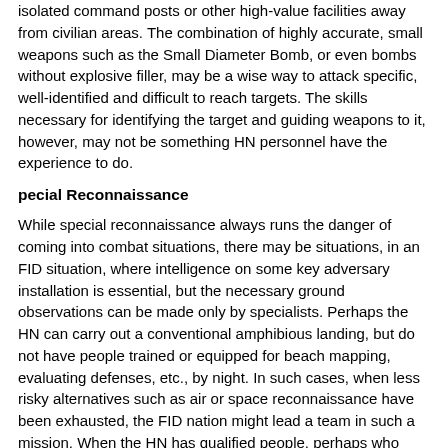isolated command posts or other high-value facilities away from civilian areas. The combination of highly accurate, small weapons such as the Small Diameter Bomb, or even bombs without explosive filler, may be a wise way to attack specific, well-identified and difficult to reach targets. The skills necessary for identifying the target and guiding weapons to it, however, may not be something HN personnel have the experience to do.
pecial Reconnaissance
While special reconnaissance always runs the danger of coming into combat situations, there may be situations, in an FID situation, where intelligence on some key adversary installation is essential, but the necessary ground observations can be made only by specialists. Perhaps the HN can carry out a conventional amphibious landing, but do not have people trained or equipped for beach mapping, evaluating defenses, etc., by night. In such cases, when less risky alternatives such as air or space reconnaissance have been exhausted, the FID nation might lead a team in such a mission. When the HN has qualified people, perhaps who have trained in the FID home country, but not the equipment, they can join in such an operation.